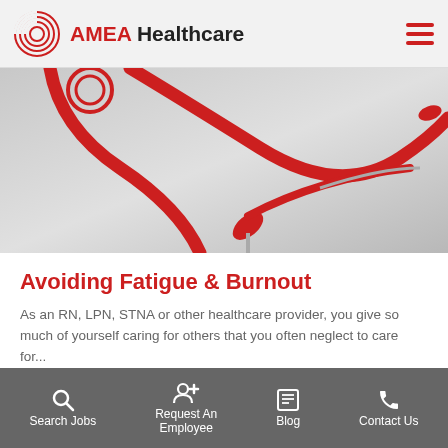AMEA Healthcare
[Figure (photo): Close-up photo of a red stethoscope on a light grey background, showing the tubing and earpieces forming curved shapes.]
Avoiding Fatigue & Burnout
As an RN, LPN, STNA or other healthcare provider, you give so much of yourself caring for others that you often neglect to care for...
Search Jobs   Request An Employee   Blog   Contact Us